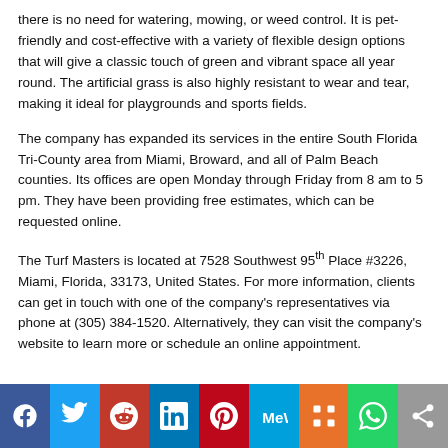there is no need for watering, mowing, or weed control. It is pet-friendly and cost-effective with a variety of flexible design options that will give a classic touch of green and vibrant space all year round. The artificial grass is also highly resistant to wear and tear, making it ideal for playgrounds and sports fields.
The company has expanded its services in the entire South Florida Tri-County area from Miami, Broward, and all of Palm Beach counties. Its offices are open Monday through Friday from 8 am to 5 pm. They have been providing free estimates, which can be requested online.
The Turf Masters is located at 7528 Southwest 95th Place #3226, Miami, Florida, 33173, United States. For more information, clients can get in touch with one of the company's representatives via phone at (305) 384-1520. Alternatively, they can visit the company's website to learn more or schedule an online appointment.
[Figure (other): Social media sharing bar with icons for Facebook, Twitter, Reddit, LinkedIn, Pinterest, MeWe, Mix, WhatsApp, and Share]